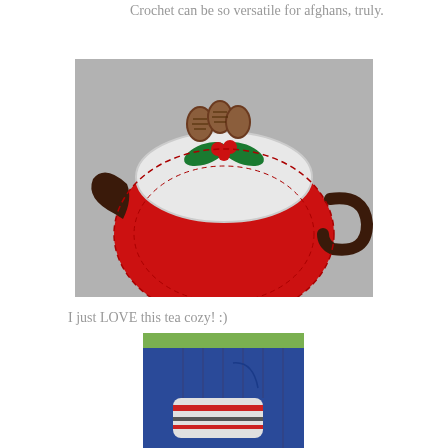Crochet can be so versatile for afghans, truly.
[Figure (photo): A brown ceramic teapot dressed in a red crochet tea cozy with white top trim, decorated with a green holly leaf and red berries crochet ornament on top, set against a grey background.]
I just LOVE this tea cozy! :)
[Figure (photo): Partial view of a person wearing blue corduroy pants and a crochet patterned wrist warmer/mitten in white, grey, and red tones, with a green background visible.]